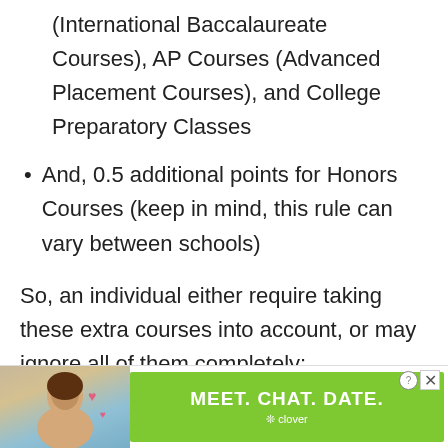(International Baccalaureate Courses), AP Courses (Advanced Placement Courses), and College Preparatory Classes
And, 0.5 additional points for Honors Courses (keep in mind, this rule can vary between schools)
So, an individual either require taking these extra courses into account, or may ignore all of them completely:
Only Regular Classes (Unweighted GPA):
[Figure (other): Advertisement banner: MEET. CHAT. DATE. by Clover app, with a photo of a woman]